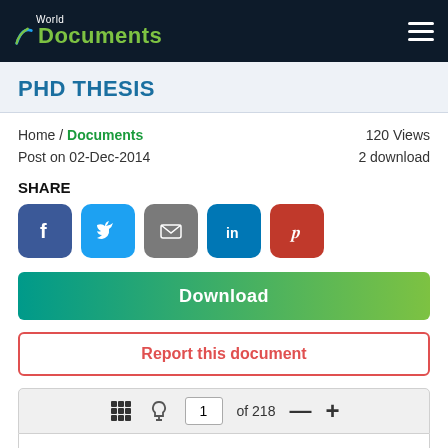World Documents
PHD THESIS
Home / Documents   120 Views
Post on 02-Dec-2014   2 download
SHARE
[Figure (other): Social share buttons: Facebook, Twitter, Email, LinkedIn, Pinterest]
Download
Report this document
1 of 218